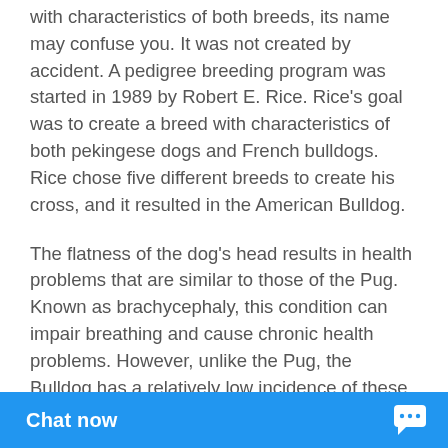with characteristics of both breeds, its name may confuse you. It was not created by accident. A pedigree breeding program was started in 1989 by Robert E. Rice. Rice's goal was to create a breed with characteristics of both pekingese dogs and French bulldogs. Rice chose five different breeds to create his cross, and it resulted in the American Bulldog.
The flatness of the dog's head results in health problems that are similar to those of the Pug. Known as brachycephaly, this condition can impair breathing and cause chronic health problems. However, unlike the Pug, the Bulldog has a relatively low incidence of these health problems. If you're worried about this issue, make sure to choose the best dog breed for you.
While American Bulldogs are easy to train, Pekingeses can be hard to train. Patience, consistency, and [partially obscured] successfully trai[n partially obscured]
[Figure (screenshot): Blue 'Chat now' button bar overlaying the bottom of the page with a chat bubble icon on the right]